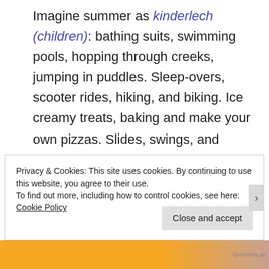Imagine summer as kinderlech (children): bathing suits, swimming pools, hopping through creeks, jumping in puddles. Sleep-overs, scooter rides, hiking, and biking. Ice creamy treats, baking and make your own pizzas. Slides, swings, and sunshine (the scorn that is sunscreen). Dirt, mud, and coils of chlorine tangled pony-tails.
Privacy & Cookies: This site uses cookies. By continuing to use this website, you agree to their use.
To find out more, including how to control cookies, see here: Cookie Policy